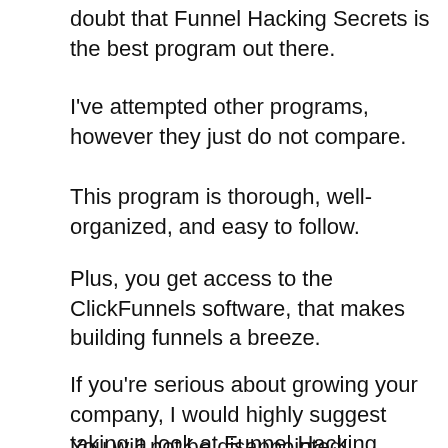doubt that Funnel Hacking Secrets is the best program out there.
I've attempted other programs, however they just do not compare.
This program is thorough, well-organized, and easy to follow.
Plus, you get access to the ClickFunnels software, that makes building funnels a breeze.
If you're serious about growing your company, I would highly suggest taking a look at Funnel Hacking Secrets.
You will not be disappointed!